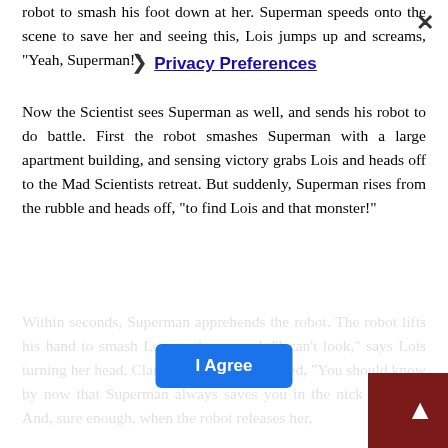robot to smash his foot down at her. Superman speeds onto the scene to save her and seeing this, Lois jumps up and screams, "Yeah, Superman!"
Now the Scientist sees Superman as well, and sends his robot to do battle. First the robot smashes Superman with a large apartment building, and sensing victory grabs Lois and heads off to the Mad Scientists retreat. But suddenly, Superman rises from the rubble and heads off, "to find Lois and that monster!"
Within seconds, Superman apprehends the robot. The robot lifts his hand to smash Lois to the ground. "I can't look," says Lois turning her head. Clark turned and whispered, "You should know by now that Superman always saves you in the nick of time." And, sure enough, when the robot releases her,
Superman catches Lois before she can hit the ground. Then jumping up, he destroys the robot and locates the lair of the Mad Scientist controlling the mechanical monster. Superman smashes his way into the scientist's lair who then grabs a gun and shoots at Lois. Moving faster than the eye can follow, Superman catches the bullets before they can do any harm,